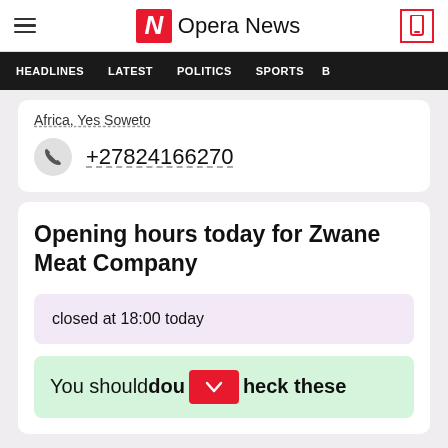Opera News
HEADLINES  LATEST  POLITICS  SPORTS
Africa, Yes Soweto
+27824166270
Opening hours today for Zwane Meat Company
closed at 18:00 today
You should double check these